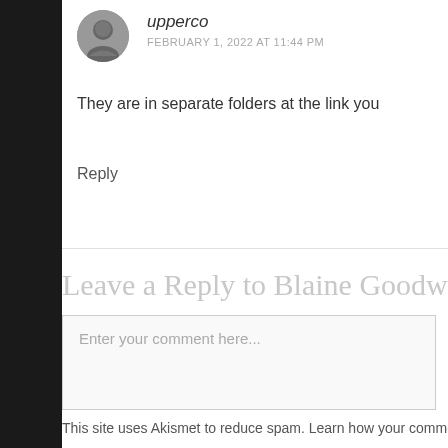upperco
FEBRUARY 1, 2022 AT 11:44 PM
They are in separate folders at the link you
Reply
Leave a Reply to Blaine Goodwin
Enter your comment here...
This site uses Akismet to reduce spam. Learn how your commen